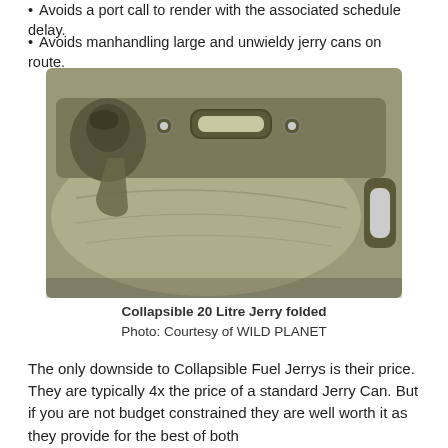Avoids a port call to render with the associated schedule delay.
Avoids manhandling large and unwieldy jerry cans on route.
[Figure (photo): A collapsible 20 litre jerry can shown in folded/flat state. The container is olive/khaki green with a screw-top cap on the upper left, two circular eyelets and a central handle slot on the top edge, and a side handle on the right edge. The bag portion is deflated and folded flat.]
Collapsible 20 Litre Jerry folded
Photo: Courtesy of WILD PLANET
The only downside to Collapsible Fuel Jerrys is their price. They are typically 4x the price of a standard Jerry Can. But if you are not budget constrained they are well worth it as they provide for the best of both